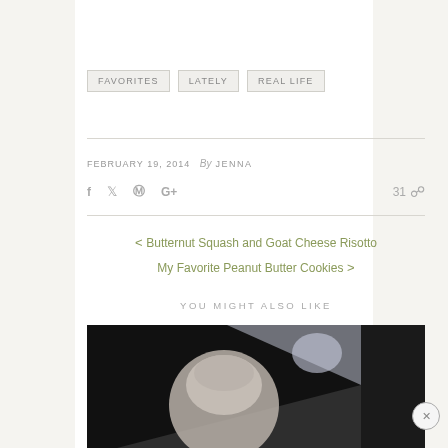FAVORITES
LATELY
REAL LIFE
FEBRUARY 19, 2014  By JENNA
31 comments
< Butternut Squash and Goat Cheese Risotto
My Favorite Peanut Butter Cookies >
YOU MIGHT ALSO LIKE
[Figure (photo): Person wearing a knit hat, dark background with light upper right]